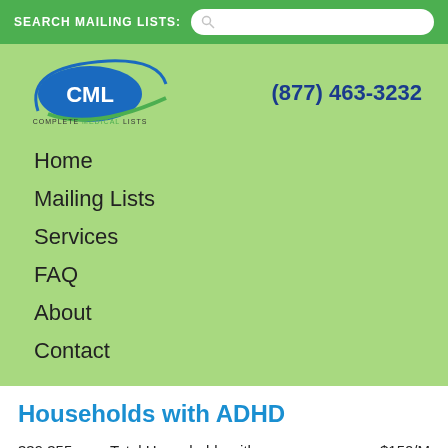SEARCH MAILING LISTS:
[Figure (logo): CML Complete Medical Lists logo with blue arc and green swoosh]
(877) 463-3232
Home
Mailing Lists
Services
FAQ
About
Contact
Households with ADHD
| Count | Description | Price |
| --- | --- | --- |
| 339,355 | Total Households with ADHD Postal Addresses | $150/M |
This survey-generated database consists of households